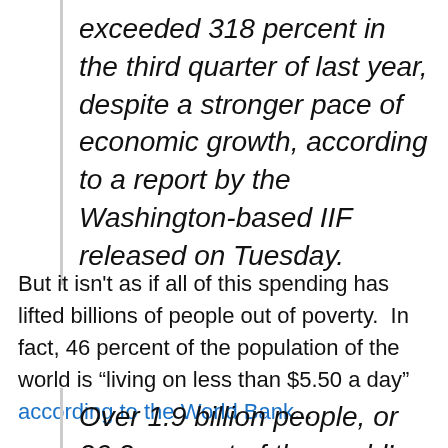exceeded 318 percent in the third quarter of last year, despite a stronger pace of economic growth, according to a report by the Washington-based IIF released on Tuesday.
But it isn't as if all of this spending has lifted billions of people out of poverty.  In fact, 46 percent of the population of the world is “living on less than $5.50 a day” according to the World Bank...
Over 1.9 billion people, or 26.2 percent of the world’s population, the